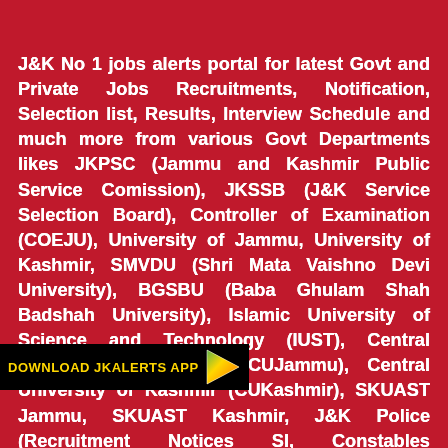J&K No 1 jobs alerts portal for latest Govt and Private Jobs Recruitments, Notification, Selection list, Results, Interview Schedule and much more from various Govt Departments likes JKPSC (Jammu and Kashmir Public Service Comission), JKSSB (J&K Service Selection Board), Controller of Examination (COEJU), University of Jammu, University of Kashmir, SMVDU (Shri Mata Vaishno Devi University), BGSBU (Baba Ghulam Shah Badshah University), Islamic University of Science and Technology (IUST), Central University of Jammu (CUJammu), Central University of Kashmir (CUKashmir), SKUAST Jammu, SKUAST Kashmir, J&K Police (Recruitment Notices SI, Constables Notifications), SKIMS (Sher-i-Kashmir Institute of Medical Sciences), GMC Jammu (Govt. Medical College Jammu), GMC Srinagar (Govt. Medical College Srinagar), JKBANK (Jammu and Kashmir Bank), JKHME (J and K Dept. of Health and Medical Education ), JKBOPEE (J&K Board of Professional Entrance Examination)
[Figure (logo): Download JKALERTS APP banner with play store arrow icon in yellow and green]